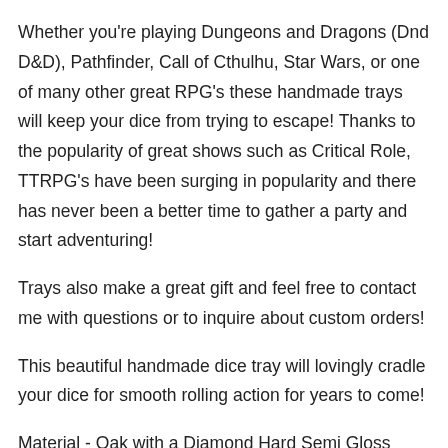Whether you're playing Dungeons and Dragons (Dnd D&D), Pathfinder, Call of Cthulhu, Star Wars, or one of many other great RPG's these handmade trays will keep your dice from trying to escape! Thanks to the popularity of great shows such as Critical Role, TTRPG's have been surging in popularity and there has never been a better time to gather a party and start adventuring!
Trays also make a great gift and feel free to contact me with questions or to inquire about custom orders!
This beautiful handmade dice tray will lovingly cradle your dice for smooth rolling action for years to come!
Material - Oak with a Diamond Hard Semi Gloss Finish